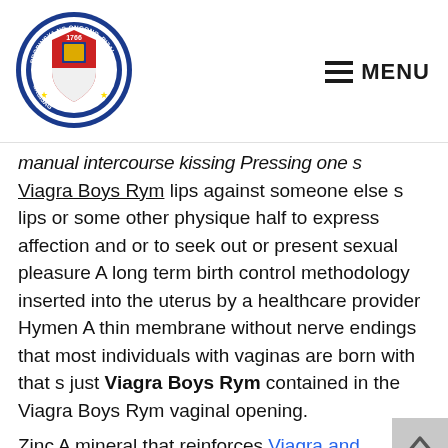[Figure (logo): Circular seal/logo of Probinsya ng Ongono, Rizal with text 1766 and decorative imagery]
MENU
manual intercourse kissing Pressing one s Viagra Boys Rym lips against someone else s lips or some other physique half to express affection and or to seek out or present sexual pleasure A long term birth control methodology inserted into the uterus by a healthcare provider Hymen A thin membrane without nerve endings that most individuals with vaginas are born with that s just Viagra Boys Rym contained in the Viagra Boys Rym vaginal opening.

Zinc A mineral that reinforces Viagra and